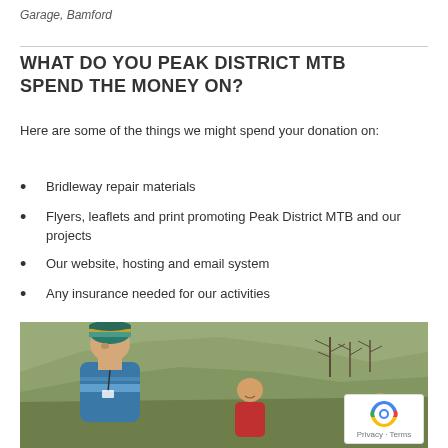Garage, Bamford
WHAT DO YOU PEAK DISTRICT MTB SPEND THE MONEY ON?
Here are some of the things we might spend your donation on:
Bridleway repair materials
Flyers, leaflets and print promoting Peak District MTB and our projects
Our website, hosting and email system
Any insurance needed for our activities
[Figure (photo): People working outdoors on a hillside with grass and bare trees in the background. One person wears a teal/green striped hat and blue jacket. Another person in red jacket is visible in the background. A reCAPTCHA badge with Privacy and Terms links appears in the bottom right corner.]